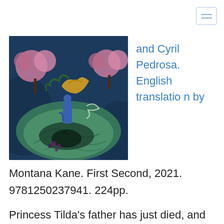[Figure (illustration): Illustrated book cover showing a fantasy scene with a figure in blue standing on a large swirling green mound, with pink flowering trees and dark blue background]
and Cyril Pedrosa. English translation by
Montana Kane. First Second, 2021. 9781250237941. 224pp.
Princess Tilda's father has just died, and nobles are arriving for her coronation. she's saying goodbye to her father when her little